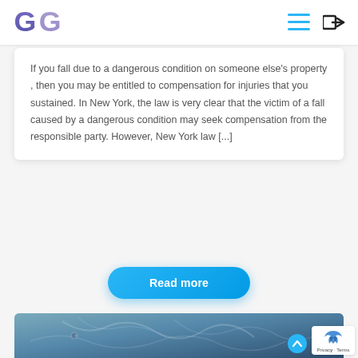GG law firm logo with navigation icons
If you fall due to a dangerous condition on someone else's property , then you may be entitled to compensation for injuries that you sustained. In New York, the law is very clear that the victim of a fall caused by a dangerous condition may seek compensation from the responsible party. However, New York law [...]
Read more
[Figure (photo): Close-up photo of damaged car showing dented and crumpled metal, with blue tint overlay]